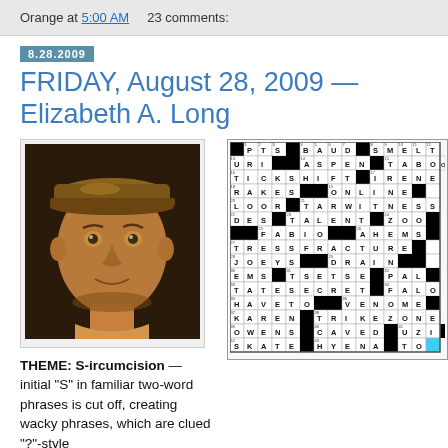Orange at 5:00 AM   23 comments:
FRIDAY, August 28, 2009 — Elizabeth A. Long
[Figure (illustration): Portrait illustration of a man with a cap, rendered in brownish/orange tones]
[Figure (other): Crossword puzzle grid with black and white squares, letters filled in, with one blue highlighted cell in the bottom right area]
THEME: S-ircumcision — initial "S" in familiar two-word phrases is cut off, creating wacky phrases, which are clued "?"-style